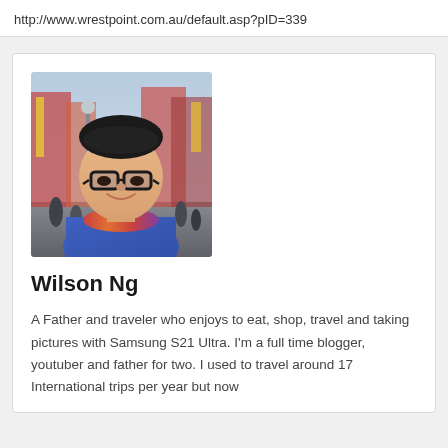http://www.wrestpoint.com.au/default.asp?pID=339
[Figure (photo): Profile photo of Wilson Ng, a man wearing glasses and a blue puffer jacket with a colorful scarf, photographed on a busy Asian city street with signs and people in the background.]
Wilson Ng
A Father and traveler who enjoys to eat, shop, travel and taking pictures with Samsung S21 Ultra. I'm a full time blogger, youtuber and father for two. I used to travel around 17 International trips per year but now